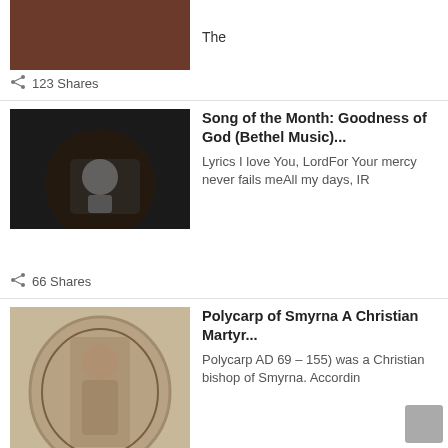[Figure (photo): Partial food/meat image at top]
The
123 Shares
[Figure (photo): Singer performing on stage]
Song of the Month: Goodness of God (Bethel Music)...
Lyrics I love You, LordFor Your mercy never fails meAll my days, IR
66 Shares
[Figure (illustration): Engraved portrait of Polycarp of Smyrna in an oval frame]
Polycarp of Smyrna A Christian Martyr...
Polycarp AD 69 – 155) was a Christian bishop of Smyrna. Accordin
64 Shares
[Figure (photo): Signpost reading TRUST IN GOD]
Putting Your Faith in God is a Must!!!...
Beloved, early this morning I had a thought just whispered into my ear
59 Shares
[Figure (illustration): Illustration of armor of God with labeled parts]
THE ARMOR OF GOD: WHAT IS IT AND HOW DO WE PUT IT ON?...